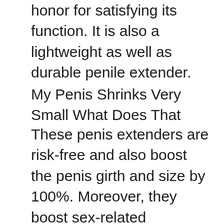honor for satisfying its function. It is also a lightweight as well as durable penile extender.
My Penis Shrinks Very Small What Does That
These penis extenders are risk-free and also boost the penis girth and size by 100%. Moreover, they boost sex-related efficiency by increasing erectile feature and penis curvature within a short period. They are easy to use as well as really efficient. You should recognize that penile extenders are utilized to extend the penile tissues and cells as well as enhance growth by fixing and generating brand-new cells. Finally, they improve your shaft in size along with thickness, fulfilling your requirements